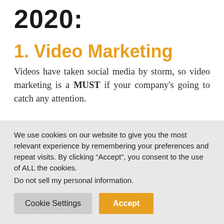2020:
1. Video Marketing
Videos have taken social media by storm, so video marketing is a MUST if your company's going to catch any attention.
We use cookies on our website to give you the most relevant experience by remembering your preferences and repeat visits. By clicking “Accept”, you consent to the use of ALL the cookies.
Do not sell my personal information.